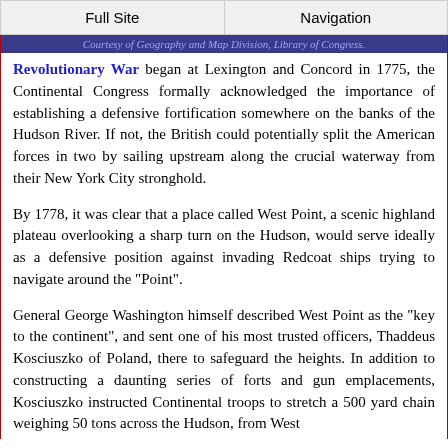Full Site | Navigation
Courtesy of Geography and Map Division, Library of Congress.
Revolutionary War began at Lexington and Concord in 1775, the Continental Congress formally acknowledged the importance of establishing a defensive fortification somewhere on the banks of the Hudson River. If not, the British could potentially split the American forces in two by sailing upstream along the crucial waterway from their New York City stronghold.
By 1778, it was clear that a place called West Point, a scenic highland plateau overlooking a sharp turn on the Hudson, would serve ideally as a defensive position against invading Redcoat ships trying to navigate around the "Point".
General George Washington himself described West Point as the "key to the continent", and sent one of his most trusted officers, Thaddeus Kosciuszko of Poland, there to safeguard the heights. In addition to constructing a daunting series of forts and gun emplacements, Kosciuszko instructed Continental troops to stretch a 500 yard chain weighing 50 tons across the Hudson, from West